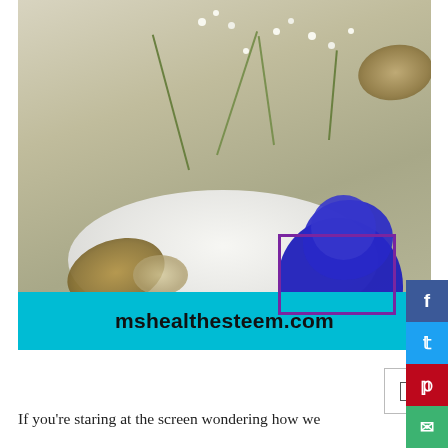[Figure (photo): Spa/wellness themed photo showing smooth stones, white flowers (baby's breath), white bowl/plate, and a bold blue flower, with a cyan banner overlay at bottom showing mshealthesteem.com. Social share buttons (Facebook, Twitter, Pinterest, Email) visible on right side.]
mshealthesteem.com
If you're staring at the screen wondering how we